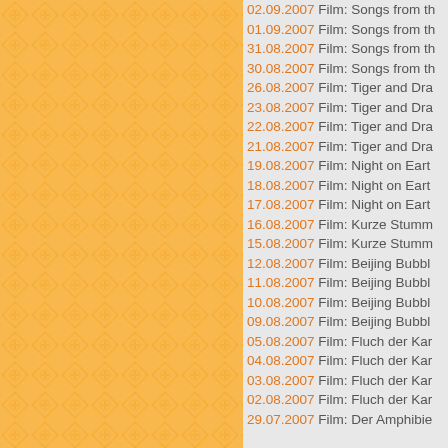[Figure (illustration): Left panel with orange decorative tile/diamond pattern background]
02.09.2007 Film: Songs from th...
01.09.2007 Film: Songs from th...
31.08.2007 Film: Songs from th...
30.08.2007 Film: Songs from th...
26.08.2007 Film: Tiger and Dra...
23.08.2007 Film: Tiger and Dra...
22.08.2007 Film: Tiger and Dra...
21.08.2007 Film: Tiger and Dra...
19.08.2007 Film: Night on Earth
18.08.2007 Film: Night on Earth
17.08.2007 Film: Night on Earth
16.08.2007 Film: Kurze Stumm...
15.08.2007 Film: Kurze Stumm...
12.08.2007 Film: Beijing Bubble...
11.08.2007 Film: Beijing Bubble...
10.08.2007 Film: Beijing Bubble...
09.08.2007 Film: Beijing Bubble...
05.08.2007 Film: Fluch der Kar...
04.08.2007 Film: Fluch der Kar...
03.08.2007 Film: Fluch der Kar...
02.08.2007 Film: Fluch der Kar...
29.07.2007 Film: Der Amphibie...